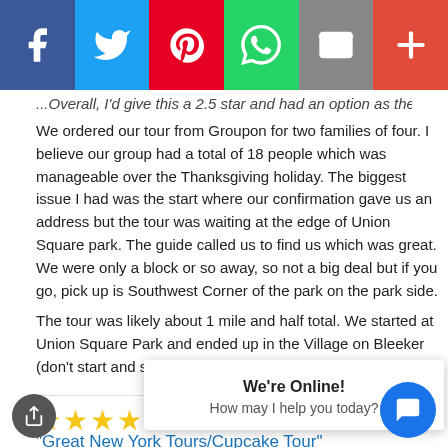[Figure (other): Social share bar with Facebook, Twitter, Pinterest, WhatsApp, Email, and More buttons]
...Overall, I'd give this a 2.5 star and had an option as the tour was a bit of a...
We ordered our tour from Groupon for two families of four. I believe our group had a total of 18 people which was manageable over the Thanksgiving holiday. The biggest issue I had was the start where our confirmation gave us an address but the tour was waiting at the edge of Union Square park. The guide called us to find us which was great. We were only a block or so away, so not a big deal but if you go, pick up is Southwest Corner of the park on the park side.
The tour was likely about 1 mile and half total. We started at Union Square Park and ended up in the Village on Bleeker (don't start and stop at the same place).
★★★★★
“Great New York Tours/Cupcake Tour”
By travrel (a TripAdvisor Member) on March 4, 2014
Always looking for someth... d 10... children, we made re... 0%... noon on what seem... Only... grandparents can get away with feeding their grandchildren an array of...